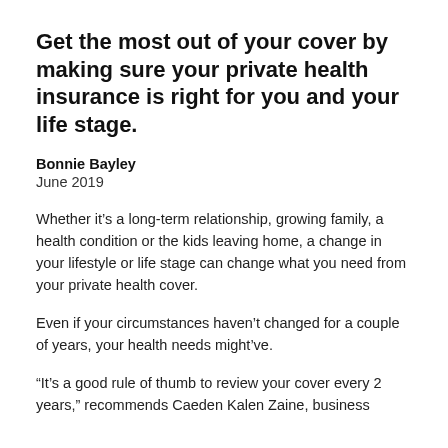Get the most out of your cover by making sure your private health insurance is right for you and your life stage.
Bonnie Bayley
June 2019
Whether it’s a long-term relationship, growing family, a health condition or the kids leaving home, a change in your lifestyle or life stage can change what you need from your private health cover.
Even if your circumstances haven’t changed for a couple of years, your health needs might’ve.
“It’s a good rule of thumb to review your cover every 2 years,” recommends Caeden Kalen Zaine, business